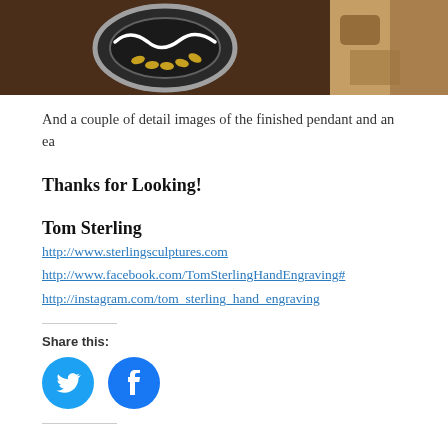[Figure (photo): Two photos side by side: left shows a close-up of a finished pendant with decorative engraving (dark with yellow/gold accents and wavy white line), right shows another detail image partially visible.]
And a couple of detail images of the finished pendant and an ea
Thanks for Looking!
Tom Sterling
http://www.sterlingsculptures.com
http://www.facebook.com/TomSterlingHandEngraving#
http://instagram.com/tom_sterling_hand_engraving
Share this:
[Figure (infographic): Twitter and Facebook share buttons as blue circular icons]